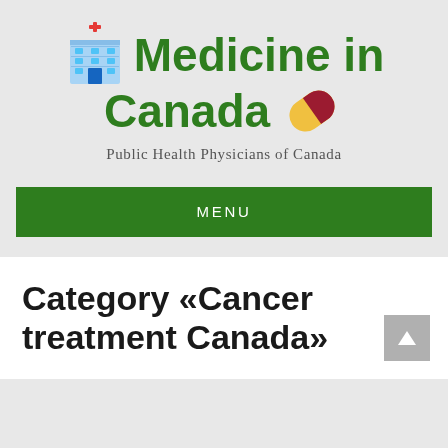[Figure (logo): Medicine in Canada website logo with hospital building icon and pill icon, subtitle: Public Health Physicians of Canada]
MENU
Category «Cancer treatment Canada»